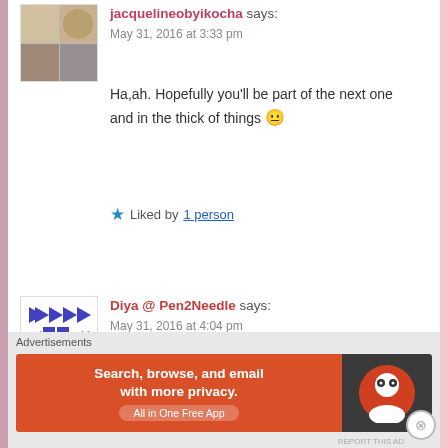jacquelineobyikocha says:
May 31, 2016 at 3:33 pm
Ha,ah. Hopefully you'll be part of the next one and in the thick of things 😐
Liked by 1 person
Diya @ Pen2Needle says:
May 31, 2016 at 4:04 pm
Fingers crossed! The party may be long over but I fully intend to come back and hit up some of your guests 😐
Advertisements
[Figure (infographic): DuckDuckGo ad banner: orange left panel with text 'Search, browse, and email with more privacy. All in One Free App', dark right panel with DuckDuckGo logo]